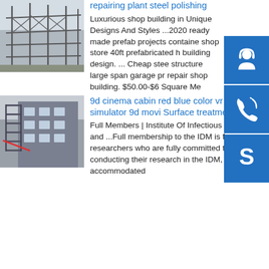[Figure (photo): Steel frame structure building under construction]
repairing plant steel polishing
Luxurious shop building in Unique Designs And Styles ...2020 ready made prefab projects container shop store 40ft prefabricated h building design. ... Cheap steel structure large span garage pre repair shop building. $50.00-$6 Square Me
[Figure (photo): Exterior of a building with fire escape stairs]
9d cinema cabin red blue color vr flight simulator 9d movi Surface treatment
Full Members | Institute Of Infectious Disease and ...Full membership to the IDM is for researchers who are fully committed to conducting their research in the IDM, preferably accommodated